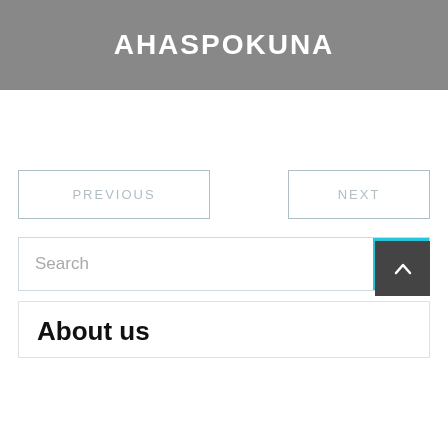AHASPOKUNA
[Figure (screenshot): Navigation buttons: PREVIOUS on the left and NEXT on the right, both with light blue-gray borders]
[Figure (screenshot): Search bar with placeholder 'Search' and a teal search icon button on the right, with a dark scroll-to-top arrow button]
About us